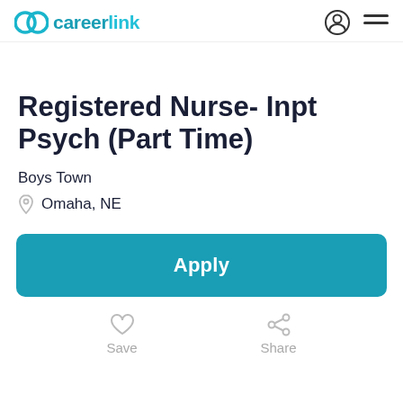careerlink
Registered Nurse- Inpt Psych (Part Time)
Boys Town
Omaha, NE
Apply
Save
Share